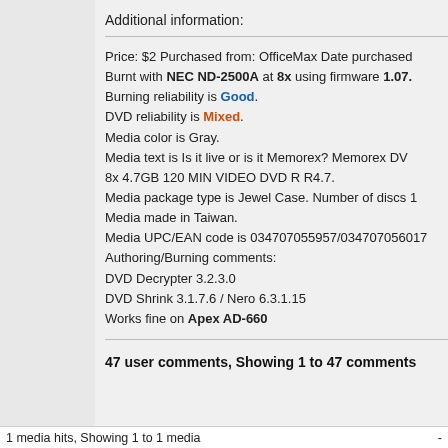Additional information:
Price: $2 Purchased from: OfficeMax Date purchased Burnt with NEC ND-2500A at 8x using firmware 1.07. Burning reliability is Good. DVD reliability is Mixed. Media color is Gray. Media text is Is it live or is it Memorex? Memorex DVD 8x 4.7GB 120 MIN VIDEO DVD R R4.7. Media package type is Jewel Case. Number of discs 1 Media made in Taiwan. Media UPC/EAN code is 034707055957/034707056017 Authoring/Burning comments: DVD Decrypter 3.2.3.0 DVD Shrink 3.1.7.6 / Nero 6.3.1.15 Works fine on Apex AD-660
47 user comments, Showing 1 to 47 comments
1 media hits, Showing 1 to 1 media   -